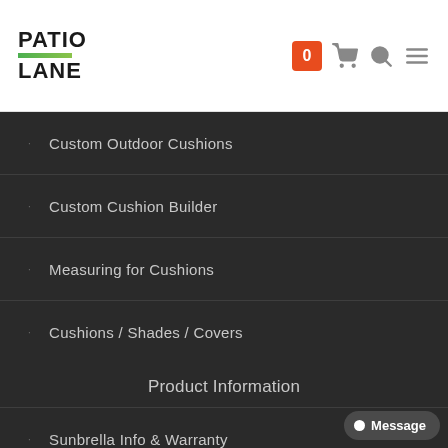PATIO LANE — navigation header with cart icon (0), search icon, menu icon
Custom Outdoor Cushions
Custom Cushion Builder
Measuring for Cushions
Cushions / Shades / Covers
Product Information
Sunbrella Info & Warranty
Sunbrella Cleaning & Care
Sunbrella Rain Info